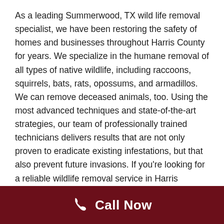As a leading Summerwood, TX wild life removal specialist, we have been restoring the safety of homes and businesses throughout Harris County for years. We specialize in the humane removal of all types of native wildlife, including raccoons, squirrels, bats, rats, opossums, and armadillos. We can remove deceased animals, too. Using the most advanced techniques and state-of-the-art strategies, our team of professionally trained technicians delivers results that are not only proven to eradicate existing infestations, but that also prevent future invasions. If you're looking for a reliable wildlife removal service in Harris County, get in touch with the team at Master Services.
Key Signs You Need to Call a Harris County Wildlife
[Figure (other): Dark red call-to-action bar at the bottom with a phone icon and 'Call Now' text in white on a dark red background.]